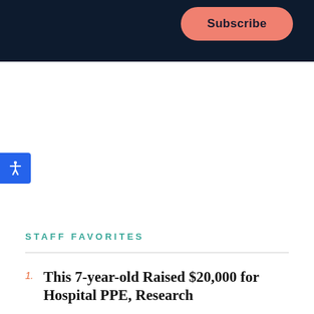[Figure (other): Dark navy banner with a salmon/coral Subscribe button in the upper right]
[Figure (other): Blue accessibility icon button on the left edge of the page]
STAFF FAVORITES
This 7-year-old Raised $20,000 for Hospital PPE, Research